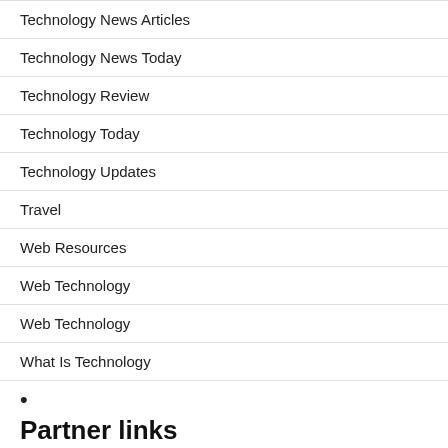Technology News Articles
Technology News Today
Technology Review
Technology Today
Technology Updates
Travel
Web Resources
Web Technology
Web Technology
What Is Technology
•
Partner links
Why No One Talks About Houses Anymore